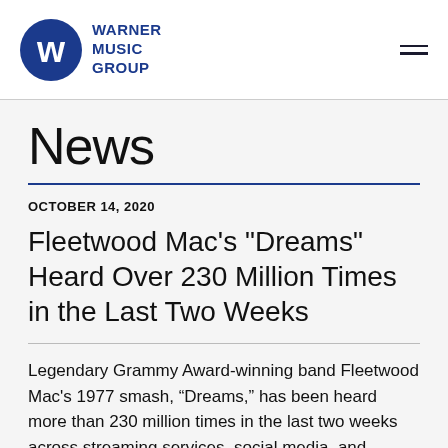Warner Music Group
News
OCTOBER 14, 2020
Fleetwood Mac's "Dreams" Heard Over 230 Million Times in the Last Two Weeks
Legendary Grammy Award-winning band Fleetwood Mac's 1977 smash, “Dreams,” has been heard more than 230 million times in the last two weeks across streaming services, social media, and